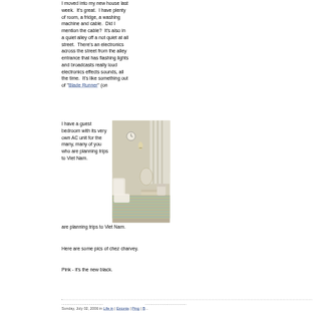I moved into my new house last week.  It's great.  I have plenty of room, a fridge, a washing machine and cable.  Did I mention the cable?  It's also in a quiet alley off a not quiet at all street.  There's an electronics across the street from the alley entrance that has flashing lights and broadcasts really loud electronics effects sounds, all the time.  It's like something out of "Blade Runner" (on...
I have a guest bedroom with its very own AC unit for the many, many of you who are planning trips to Viet Nam.
[Figure (photo): Interior photo of a bedroom with a bed covered in a striped bedspread, white furniture, a clock on the wall, and white curtains.]
Here are some pics of chez charvey.
Pink - it's the new black.
........................................  Sunday, July 02, 2006 in Life in | Estonia | Ping | B...